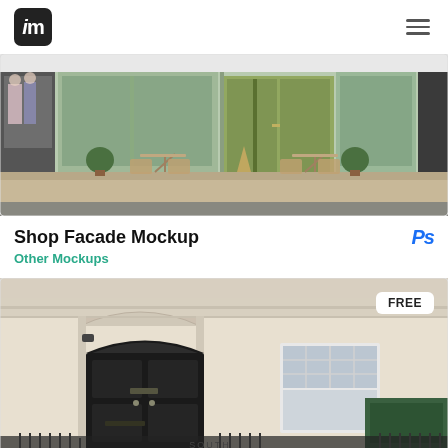im (logo) / hamburger menu
[Figure (photo): Shop facade photo showing a green-painted storefront cafe with outdoor bistro tables and chairs, potted plants, large glass windows and double green doors]
Shop Facade Mockup
Ps
Other Mockups
[Figure (photo): House facade mockup photo showing a cream/white painted terraced house exterior with black front door, white sash window, iron railings, and a green shop front labeled SOUTH at the bottom]